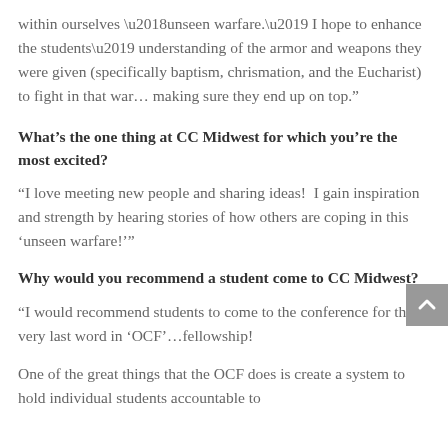within ourselves ‘unseen warfare.’ I hope to enhance the students’ understanding of the armor and weapons they were given (specifically baptism, chrismation, and the Eucharist) to fight in that war… making sure they end up on top.”
What’s the one thing at CC Midwest for which you’re the most excited?
“I love meeting new people and sharing ideas!  I gain inspiration and strength by hearing stories of how others are coping in this ‘unseen warfare!’”
Why would you recommend a student come to CC Midwest?
“I would recommend students to come to the conference for the very last word in ‘OCF’…fellowship!
One of the great things that the OCF does is create a system to hold individual students accountable to